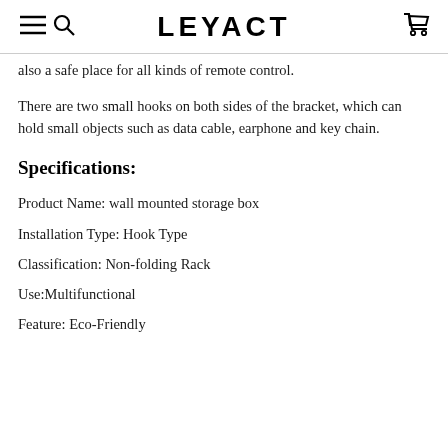LEYACT
also a safe place for all kinds of remote control.
There are two small hooks on both sides of the bracket, which can hold small objects such as data cable, earphone and key chain.
Specifications:
Product Name: wall mounted storage box
Installation Type: Hook Type
Classification: Non-folding Rack
Use:Multifunctional
Feature: Eco-Friendly